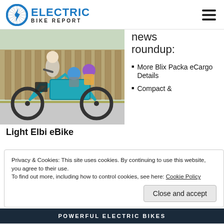ELECTRIC BIKE REPORT
[Figure (photo): Person riding a teal/blue cargo e-bike with two children in rear seats wearing helmets, on a street with a wooden fence in background]
news roundup:
More Blix Packa eCargo Details
Compact & Light Elbi eBike
Privacy & Cookies: This site uses cookies. By continuing to use this website, you agree to their use.
To find out more, including how to control cookies, see here: Cookie Policy
Close and accept
POWERFUL ELECTRIC BIKES